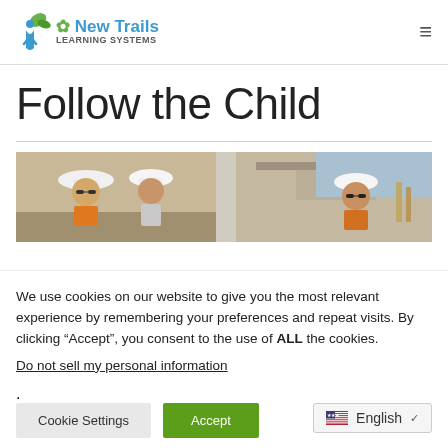New Trails Learning Systems
Follow the Child
[Figure (photo): Three people wearing hard hats and safety gear at a construction site]
We use cookies on our website to give you the most relevant experience by remembering your preferences and repeat visits. By clicking “Accept”, you consent to the use of ALL the cookies.
Do not sell my personal information.
Cookie Settings | Accept
English